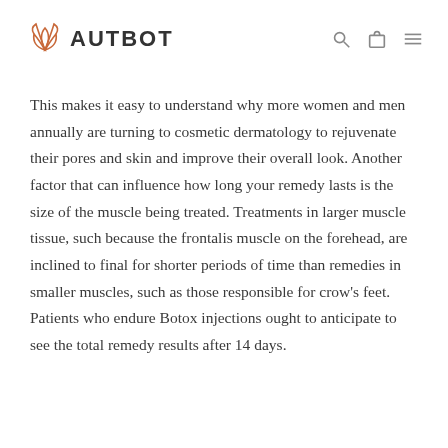AUTBOT
This makes it easy to understand why more women and men annually are turning to cosmetic dermatology to rejuvenate their pores and skin and improve their overall look. Another factor that can influence how long your remedy lasts is the size of the muscle being treated. Treatments in larger muscle tissue, such because the frontalis muscle on the forehead, are inclined to final for shorter periods of time than remedies in smaller muscles, such as those responsible for crow's feet. Patients who endure Botox injections ought to anticipate to see the total remedy results after 14 days.